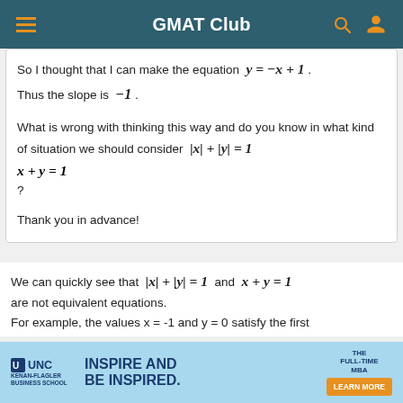GMAT Club
So I thought that I can make the equation y = −x + 1. Thus the slope is −1.
What is wrong with thinking this way and do you know in what kind of situation we should consider |x| + |y| = 1 vs x + y = 1 ?
Thank you in advance!
We can quickly see that |x| + |y| = 1 and x + y = 1 are not equivalent equations.
For example, the values x = -1 and y = 0 satisfy the first
[Figure (infographic): UNC Kenan-Flagler Business School advertisement: INSPIRE AND BE INSPIRED. THE FULL-TIME MBA. LEARN MORE button.]